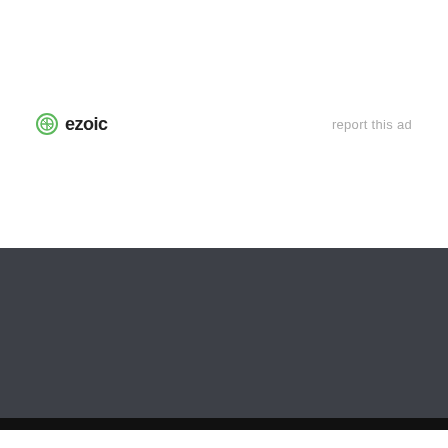[Figure (logo): Ezoic logo with green circular icon and bold 'ezoic' text, with 'report this ad' link on the right]
[Figure (logo): San Diego Consumers Action Network (CAN) logo on dark grey background inside a green-bordered rectangle. 'San Diego' in blue italic serif, a lightning crack graphic, and 'Consumers Action Network TM' in green serif text.]